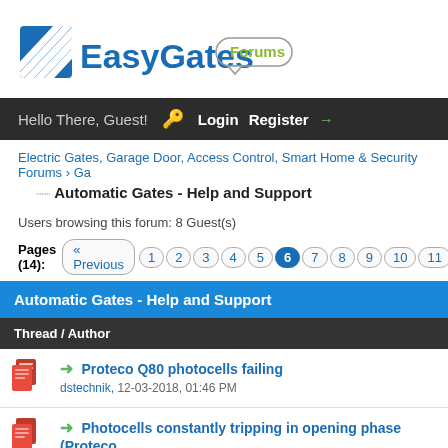[Figure (logo): EasyGates Forums logo with diagonal striped icon and speech bubble]
Hello There, Guest!  Login  Register →
Electric Gates, Garage Door, Access Control, Smart Home & Security Forums › Ga
Automatic Gates - Help and Support
Users browsing this forum: 8 Guest(s)
Pages (14): « Previous  1  2  3  4  5  6  7  8  9  10  11  12  1
| Automatic Gates - Help and Support | Thread / Author |
| --- | --- |
| [icon] | → Proteco Q80 photocells failing
dstechnik, 12-03-2018, 01:46 PM |
| [icon] | → Photocells constantly tripping in opening phase (Proteco
ProtecoUser, 05-03-2018, 09:40 PM |
| [icon] | → GPS/Distance Based Gate Opener |